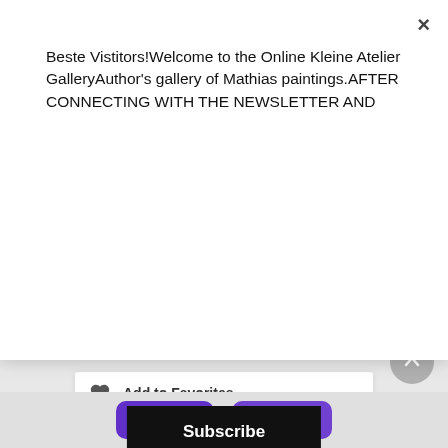Beste Vistitors!Welcome to the Online Kleine Atelier GalleryAuthor's gallery of Mathias paintings.AFTER CONNECTING WITH THE NEWSLETTER AND
[Figure (screenshot): Subscribe button, black background with white text 'Subscribe']
[Figure (screenshot): Add to Favorites card with heart icon, product name 'Magnet Girl With Nephrite', price €5.90]
Add to Favorites
Magnet Girl With Nephrite
€5.90
[Figure (screenshot): Bottom toolbar with heart favorites button (count 0) and eye view button (count 0), scroll-up circle button on right]